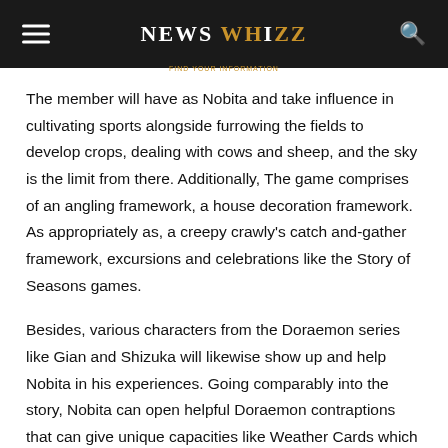NEWS WHIZZ
The member will have as Nobita and take influence in cultivating sports alongside furrowing the fields to develop crops, dealing with cows and sheep, and the sky is the limit from there. Additionally, The game comprises of an angling framework, a house decoration framework. As appropriately as, a creepy crawly's catch and-gather framework, excursions and celebrations like the Story of Seasons games.
Besides, various characters from the Doraemon series like Gian and Shizuka will likewise show up and help Nobita in his experiences. Going comparably into the story, Nobita can open helpful Doraemon contraptions that can give unique capacities like Weather Cards which could interchange